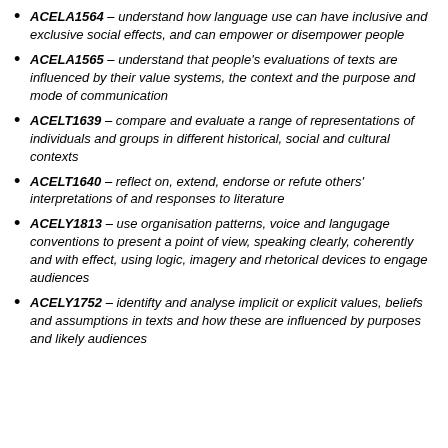ACELA1564 – understand how language use can have inclusive and exclusive social effects, and can empower or disempower people
ACELA1565 – understand that people's evaluations of texts are influenced by their value systems, the context and the purpose and mode of communication
ACELT1639 – compare and evaluate a range of representations of individuals and groups in different historical, social and cultural contexts
ACELT1640 – reflect on, extend, endorse or refute others' interpretations of and responses to literature
ACELY1813 – use organisation patterns, voice and langugage conventions to present a point of view, speaking clearly, coherently and with effect, using logic, imagery and rhetorical devices to engage audiences
ACELY1752 – identifty and analyse implicit or explicit values, beliefs and assumptions in texts and how these are influenced by purposes and likely audiences